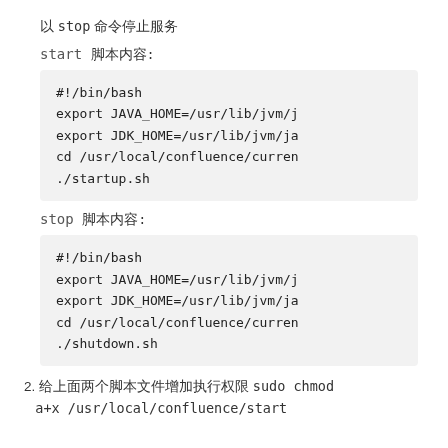以 stop 命令停止服务
start 脚本内容:
#!/bin/bash
export JAVA_HOME=/usr/lib/jvm/j
export JDK_HOME=/usr/lib/jvm/ja
cd /usr/local/confluence/curren
./startup.sh
stop 脚本内容:
#!/bin/bash
export JAVA_HOME=/usr/lib/jvm/j
export JDK_HOME=/usr/lib/jvm/ja
cd /usr/local/confluence/curren
./shutdown.sh
2. 给上面两个脚本文件增加执行权限 sudo chmod a+x /usr/local/confluence/start